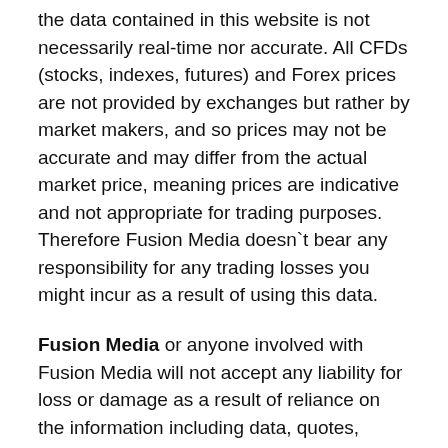the data contained in this website is not necessarily real-time nor accurate. All CFDs (stocks, indexes, futures) and Forex prices are not provided by exchanges but rather by market makers, and so prices may not be accurate and may differ from the actual market price, meaning prices are indicative and not appropriate for trading purposes. Therefore Fusion Media doesn`t bear any responsibility for any trading losses you might incur as a result of using this data.
Fusion Media or anyone involved with Fusion Media will not accept any liability for loss or damage as a result of reliance on the information including data, quotes, charts and buy/sell signals contained within this website. Please be fully informed regarding the risks and costs associated with trading the financial markets, it is one of the riskiest investment forms possible.